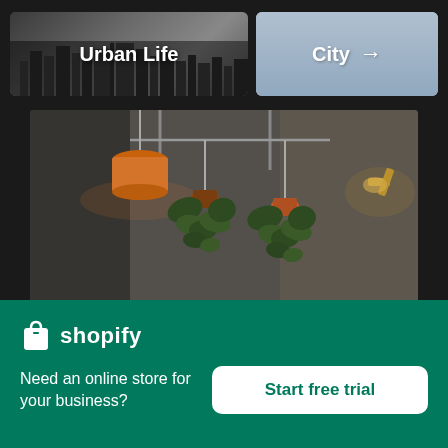[Figure (screenshot): Navigation thumbnails: 'Urban Life' city skyline photo and 'City' with arrow on blue-grey background]
[Figure (photo): Interior photo showing hanging plants in orange and terracotta pots against a grey concrete wall, with an orange pendant lamp and a wall-mounted brass lamp]
×
[Figure (logo): Shopify logo with shopping bag icon and wordmark 'shopify' in white on green background]
Need an online store for your business?
Start free trial